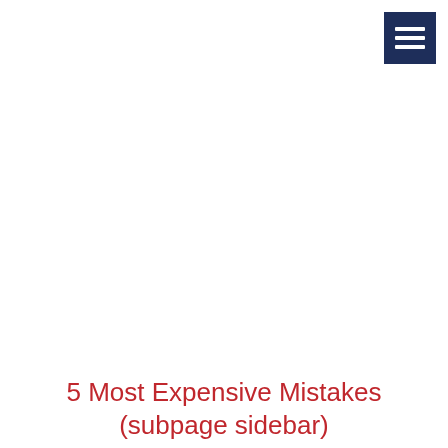[Figure (other): Navigation menu button: dark navy blue square with three horizontal white bars (hamburger icon) in the top-right corner]
5 Most Expensive Mistakes (subpage sidebar)